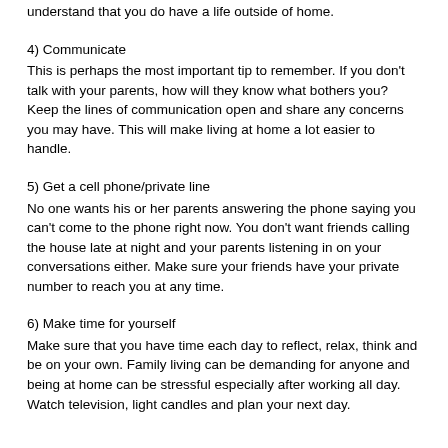understand that you do have a life outside of home.
4) Communicate
This is perhaps the most important tip to remember. If you don't talk with your parents, how will they know what bothers you? Keep the lines of communication open and share any concerns you may have. This will make living at home a lot easier to handle.
5) Get a cell phone/private line
No one wants his or her parents answering the phone saying you can't come to the phone right now. You don't want friends calling the house late at night and your parents listening in on your conversations either. Make sure your friends have your private number to reach you at any time.
6) Make time for yourself
Make sure that you have time each day to reflect, relax, think and be on your own. Family living can be demanding for anyone and being at home can be stressful especially after working all day. Watch television, light candles and plan your next day.